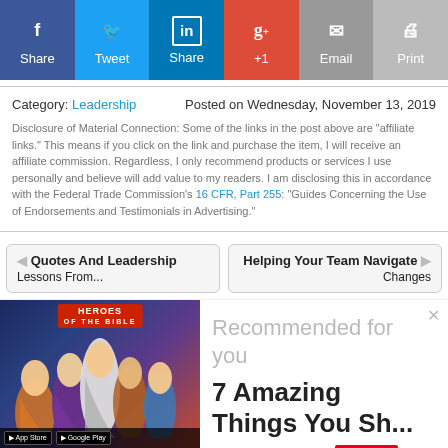[Figure (infographic): Social sharing bar with Facebook (Share), Twitter (Tweet), LinkedIn (Share), Google+ (+1), Email, and Print buttons]
Category: Leadership    Posted on Wednesday, November 13, 2019
Disclosure of Material Connection: Some of the links in the post above are "affiliate links." This means if you click on the link and purchase the item, I will receive an affiliate commission. Regardless, I only recommend products or services I use personally and believe will add value to my readers. I am disclosing this in accordance with the Federal Trade Commission's 16 CFR, Part 255: "Guides Concerning the Use of Endorsements and Testimonials in Advertising."
Quotes And Leadership Lessons From...
Helping Your Team Navigate Changes
[Figure (illustration): Illustrated app advertisement showing biblical/heroic characters with Heroes app logo, App Store and Google Play badges]
Recommended for you
7 Amazing Things You Sh...
www.jmlalonde.com